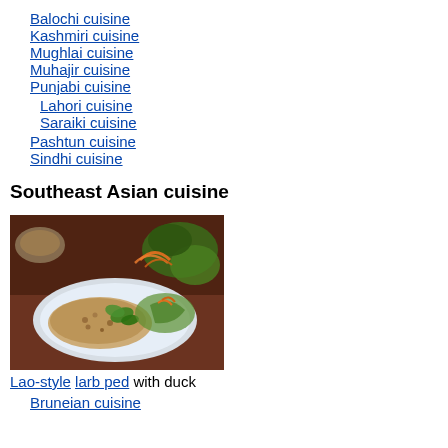Balochi cuisine
Kashmiri cuisine
Mughlai cuisine
Muhajir cuisine
Punjabi cuisine
Lahori cuisine
Saraiki cuisine
Pashtun cuisine
Sindhi cuisine
Southeast Asian cuisine
[Figure (photo): A plate of Lao-style larb ped (duck salad) with herbs and vegetables, served on a white plate on a wooden table]
Lao-style larb ped with duck
Bruneian cuisine